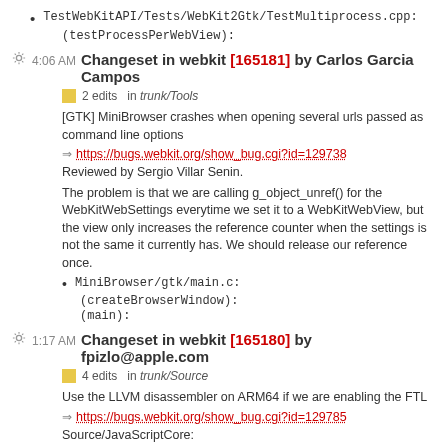TestWebKitAPI/Tests/WebKit2Gtk/TestMultiprocess.cpp:
(testProcessPerWebView):
4:06 AM Changeset in webkit [165181] by Carlos Garcia Campos
2 edits in trunk/Tools
[GTK] MiniBrowser crashes when opening several urls passed as command line options
https://bugs.webkit.org/show_bug.cgi?id=129738
Reviewed by Sergio Villar Senin.
The problem is that we are calling g_object_unref() for the WebKitWebSettings everytime we set it to a WebKitWebView, but the view only increases the reference counter when the settings is not the same it currently has. We should release our reference once.
MiniBrowser/gtk/main.c:
(createBrowserWindow):
(main):
1:17 AM Changeset in webkit [165180] by fpizlo@apple.com
4 edits in trunk/Source
Use the LLVM disassembler on ARM64 if we are enabling the FTL
https://bugs.webkit.org/show_bug.cgi?id=129785
Source/JavaScriptCore:
Reviewed by Geoffrey Garen.